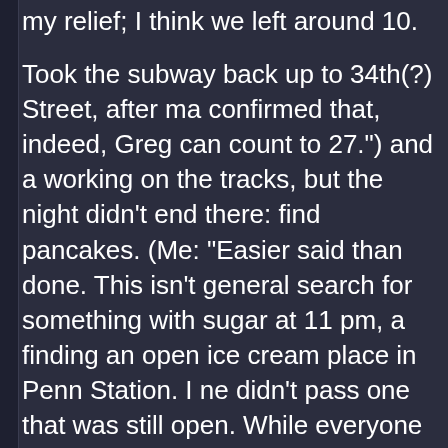my relief; I think we left around 10.
Took the subway back up to 34th(?) Street, after ma confirmed that, indeed, Greg can count to 27.") and a working on the tracks, but the night didn't end there: find pancakes. (Me: "Easier said than done. This isn't general search for something with sugar at 11 pm, a finding an open ice cream place in Penn Station. I ne didn't pass one that was still open. While everyone w watching Cowboy Bebop, Greg was kind enough to w which naturally was six or seven blocks away. (Of co changed out of his walking shoes. Thanks again, Gre
I crashed at a relatively decent hour afterwards.
Monday, June 30
Woke up at 8:45, although at first I thought it was 9:4 I realized I had time to shower and dress. We checke the luggage check room. We didn't take A Fan's tour Chinatown instead. It was incredibly hot, and we duc as we did to just get out of the heat. Kathy did find t bought a jade elephant for Plague's mother (for the